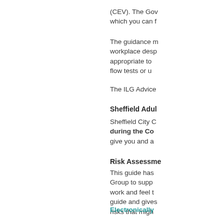(CEV). The Gov which you can f
The guidance m workplace desp appropriate to flow tests or u
The ILG Advice
Sheffield Adul
Sheffield City C during the Co give you and a
Risk Assessme
This guide has Group to supp work and feel t guide and gives risks that migh
Electronically
Direct Payme